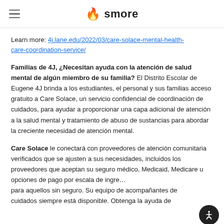smore
Learn more: 4j.lane.edu/2022/03/care-solace-mental-health-care-coordination-service/
Familias de 4J, ¿Necesitan ayuda con la atención de salud mental de algún miembro de su familia? El Distrito Escolar de Eugene 4J brinda a los estudiantes, el personal y sus familias acceso gratuito a Care Solace, un servicio confidencial de coordinación de cuidados, para ayudar a proporcionar una capa adicional de atención a la salud mental y tratamiento de abuso de sustancias para abordar la creciente necesidad de atención mental.
Care Solace le conectará con proveedores de atención comunitaria verificados que se ajusten a sus necesidades, incluidos los proveedores que aceptan su seguro médico, Medicaid, Medicare u opciones de pago por escala de ingre... para aquellos sin seguro. Su equipo de acompañantes de cuidados siempre está disponible. Obtenga la ayuda de